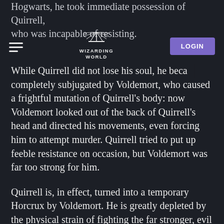Hogwarts, he took immediate possession of Quirrell, who was incapable of resisting.
WIZARDING WORLD | LOGIN
While Quirrell did not lose his soul, he became completely subjugated by Voldemort, who caused a frightful mutation of Quirrell’s body: now Voldemort looked out of the back of Quirrell’s head and directed his movements, even forcing him to attempt murder. Quirrell tried to put up feeble resistance on occasion, but Voldemort was far too strong for him.

Quirrell is, in effect, turned into a temporary Horcrux by Voldemort. He is greatly depleted by the physical strain of fighting the far stronger, evil soul inside him. Quirrell’s body manifests burns and blisters during his fight with Harry due to the protective power Harry’s mother left in his skin when she died for him. When the body Voldemort and Quirrell are sharing is horribly burned by contact with Harry, the former flees just in time to save himself, leaving the